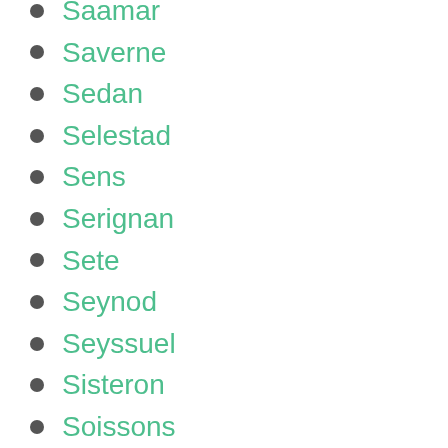Saamar
Saverne
Sedan
Selestad
Sens
Serignan
Sete
Seynod
Seyssuel
Sisteron
Soissons
Soisy sous Montmorency
Solenzara
Sophia Antipolis
Soulosse Sous Saint Elophe
St Pierre d’Oleron
St. Brieuc